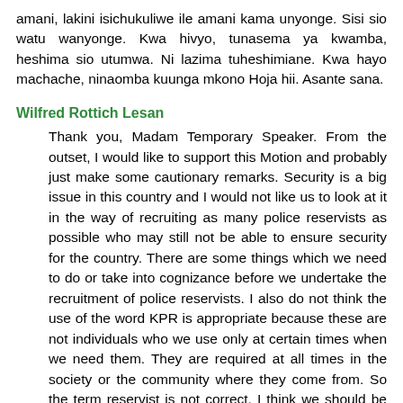amani, lakini isichukuliwe ile amani kama unyonge. Sisi sio watu wanyonge. Kwa hivyo, tunasema ya kwamba, heshima sio utumwa. Ni lazima tuheshimiane. Kwa hayo machache, ninaomba kuunga mkono Hoja hii. Asante sana.
Wilfred Rottich Lesan
Thank you, Madam Temporary Speaker. From the outset, I would like to support this Motion and probably just make some cautionary remarks. Security is a big issue in this country and I would not like us to look at it in the way of recruiting as many police reservists as possible who may still not be able to ensure security for the country. There are some things which we need to do or take into cognizance before we undertake the recruitment of police reservists. I also do not think the use of the word KPR is appropriate because these are not individuals who we use only at certain times when we need them. They are required at all times in the society or the community where they come from. So the term reservist is not correct. I think we should be able to call them a new name. For the improvement of security in this country, there are certain things that are mandatory. First, we must be able to map our country. We must be able to know the details of the layout of our country. I say so because if you try and look for an individual in Dandora, for example, I think it is